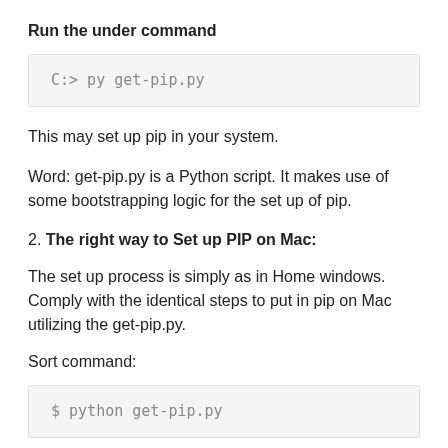Run the under command
C:> py get-pip.py
This may set up pip in your system.
Word: get-pip.py is a Python script. It makes use of some bootstrapping logic for the set up of pip.
2. The right way to Set up PIP on Mac:
The set up process is simply as in Home windows. Comply with the identical steps to put in pip on Mac utilizing the get-pip.py.
Sort command:
$ python get-pip.py